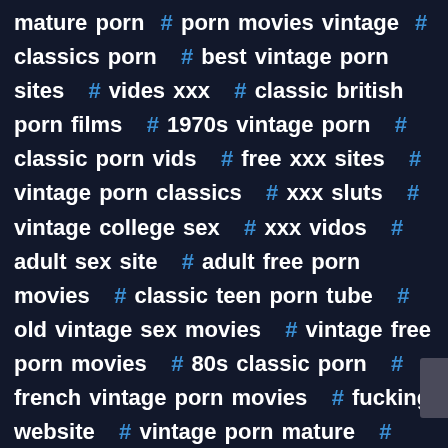mature porn # porn movies vintage # classics porn # best vintage porn sites # vides xxx # classic british porn films # 1970s vintage porn # classic porn vids # free xxx sites # vintage porn classics # xxx sluts # vintage college sex # xxx vidos # adult sex site # adult free porn movies # classic teen porn tube # old vintage sex movies # vintage free porn movies # 80s classic porn # french vintage porn movies # fucking website # vintage porn mature # best xxx porn # vintage nude sex # vintage 1920 porn # best porn video # mature porn vintage # vintage 1920 porn # hot xxx # classic vintage retro porn # fuck tube # best free porn tubes # 1960s vintage porn # crazy sexy